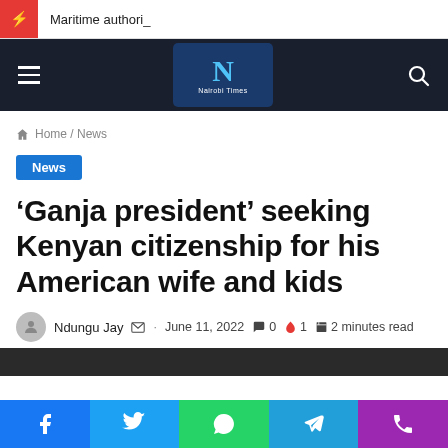Maritime authori_
[Figure (logo): Nairobi Times logo — N letter on dark blue background with site name below]
Home / News
News
‘Ganja president’ seeking Kenyan citizenship for his American wife and kids
Ndungu Jay · June 11, 2022 💬 0 🔥 1 📰 2 minutes read
[Figure (photo): Partial photo of a person at the bottom of the page]
Facebook Twitter WhatsApp Telegram Phone social sharing buttons